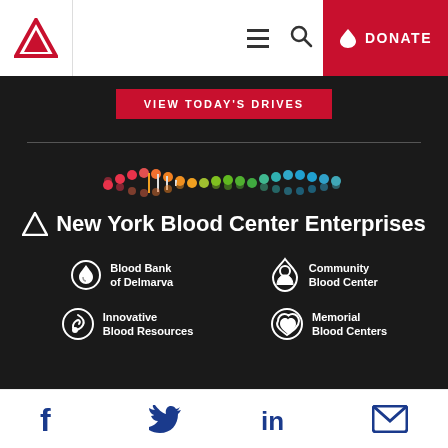New York Blood Center - Logo, Menu, Search, DONATE
VIEW TODAY'S DRIVES
[Figure (logo): Colorful DNA helix strand logo above New York Blood Center Enterprises wordmark with triangle logo icon]
[Figure (logo): Blood Bank of Delmarva logo]
[Figure (logo): Community Blood Center logo]
[Figure (logo): Innovative Blood Resources logo]
[Figure (logo): Memorial Blood Centers logo]
Facebook, Twitter, LinkedIn, Email social media icons